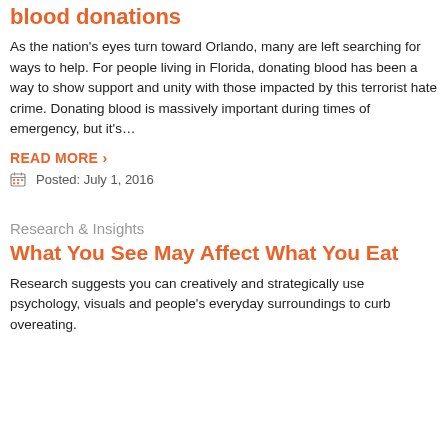blood donations
As the nation's eyes turn toward Orlando, many are left searching for ways to help. For people living in Florida, donating blood has been a way to show support and unity with those impacted by this terrorist hate crime. Donating blood is massively important during times of emergency, but it's...
READ MORE ›
Posted: July 1, 2016
Research & Insights
What You See May Affect What You Eat
Research suggests you can creatively and strategically use psychology, visuals and people's everyday surroundings to curb overeating.